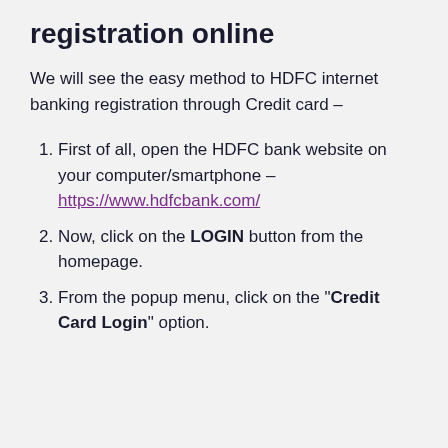registration online
We will see the easy method to HDFC internet banking registration through Credit card –
First of all, open the HDFC bank website on your computer/smartphone – https://www.hdfcbank.com/
Now, click on the LOGIN button from the homepage.
From the popup menu, click on the "Credit Card Login" option.